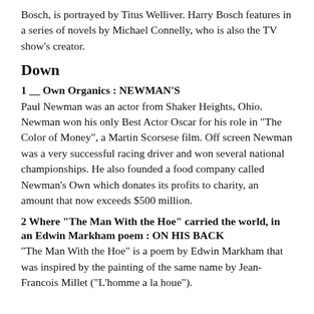Bosch, is portrayed by Titus Welliver. Harry Bosch features in a series of novels by Michael Connelly, who is also the TV show’s creator.
Down
1 __ Own Organics : NEWMAN’S
Paul Newman was an actor from Shaker Heights, Ohio. Newman won his only Best Actor Oscar for his role in “The Color of Money”, a Martin Scorsese film. Off screen Newman was a very successful racing driver and won several national championships. He also founded a food company called Newman’s Own which donates its profits to charity, an amount that now exceeds $500 million.
2 Where “The Man With the Hoe” carried the world, in an Edwin Markham poem : ON HIS BACK
“The Man With the Hoe” is a poem by Edwin Markham that was inspired by the painting of the same name by Jean-Francois Millet (“L’homme a la houe”).